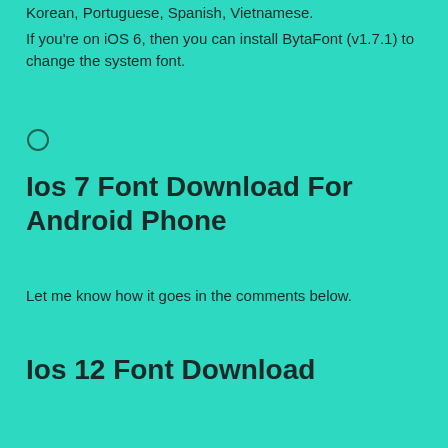Korean, Portuguese, Spanish, Vietnamese.
If you're on iOS 6, then you can install BytaFont (v1.7.1) to change the system font.
[Figure (other): Small circle/button icon]
Ios 7 Font Download For Android Phone
Let me know how it goes in the comments below.
Ios 12 Font Download